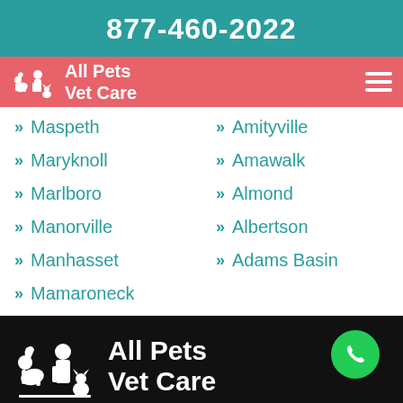877-460-2022
[Figure (logo): All Pets Vet Care logo with silhouette of pets and person, pink/salmon navigation bar with hamburger menu]
Maspeth
Maryknoll
Marlboro
Manorville
Manhasset
Mamaroneck
Amityville
Amawalk
Almond
Albertson
Adams Basin
[Figure (logo): All Pets Vet Care logo white on black background with green phone circle button]
For over 12 years Wappingers Falls All Pets Vet Care certified vet